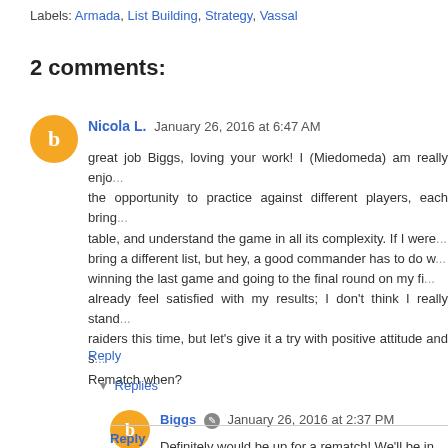Labels: Armada, List Building, Strategy, Vassal
2 comments:
Nicola L.  January 26, 2016 at 6:47 AM
great job Biggs, loving your work! I (Miedomeda) am really enjoying the opportunity to practice against different players, each bringing to the table, and understand the game in all its complexity. If I were to bring a different list, but hey, a good commander has to do w... winning the last game and going to the final round on my fi... already feel satisfied with my results; I don't think I really stand... raiders this time, but let's give it a try with positive attitude and se... Rematch when?
Reply
Replies
Biggs  January 26, 2016 at 2:37 PM
Definitely would be up for a rematch! We'll be in touch.
Reply